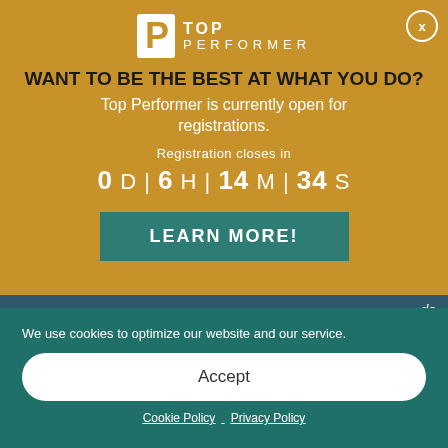[Figure (logo): Top Performer logo with white P icon and TOP PERFORMER text]
WANT TO BE THE BEST AT WHAT YOU DO?
Top Performer is currently open for registrations.
Registration closes in 0 D | 6 H | 14 M | 34 S
LEARN MORE!
We use cookies to optimize our website and our service.
Accept
Cookie Policy  Privacy Policy